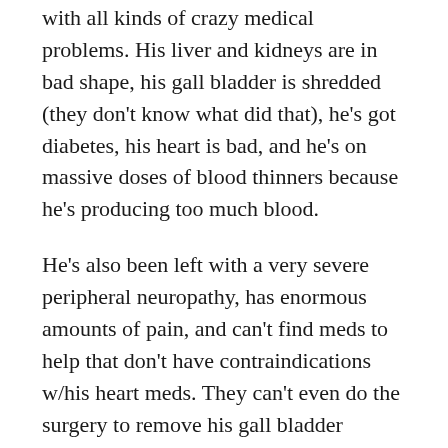with all kinds of crazy medical problems. His liver and kidneys are in bad shape, his gall bladder is shredded (they don't know what did that), he's got diabetes, his heart is bad, and he's on massive doses of blood thinners because he's producing too much blood.
He's also been left with a very severe peripheral neuropathy, has enormous amounts of pain, and can't find meds to help that don't have contraindications w/his heart meds. They can't even do the surgery to remove his gall bladder because his heart is too bad.
After offering some advice on meds that might work, who to talk to about getting a decent chair/braces, etc, and exchanging numbers, I told him I'd be praying for him…
He didn't say not to, but he made it clear he